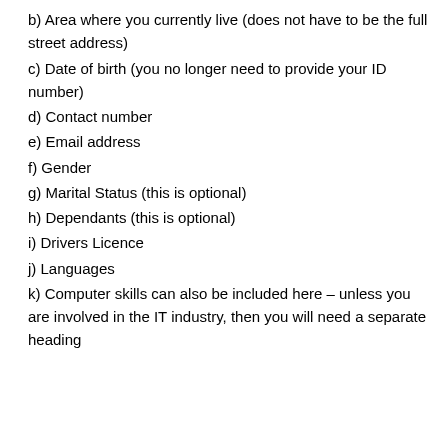b) Area where you currently live (does not have to be the full street address)
c) Date of birth (you no longer need to provide your ID number)
d) Contact number
e) Email address
f) Gender
g) Marital Status (this is optional)
h) Dependants (this is optional)
i) Drivers Licence
j) Languages
k) Computer skills can also be included here – unless you are involved in the IT industry, then you will need a separate heading